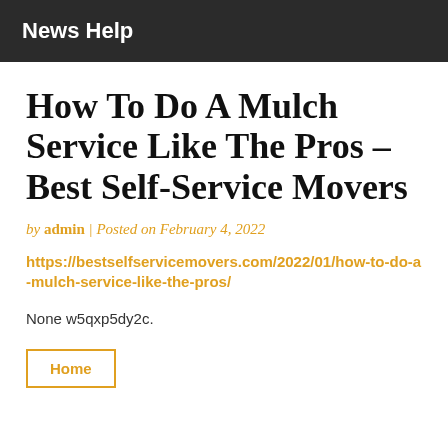News Help
How To Do A Mulch Service Like The Pros – Best Self-Service Movers
by admin | Posted on February 4, 2022
https://bestselfservicemovers.com/2022/01/how-to-do-a-mulch-service-like-the-pros/
None w5qxp5dy2c.
Home